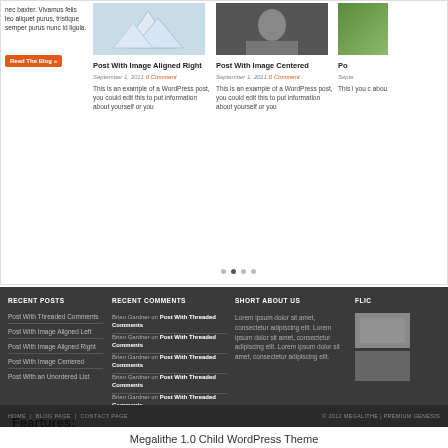nec baxter. Vivamus felis leo aliquet purus, tristique semper purus nunc id ligula.
Read The Blog »
[Figure (screenshot): Blog post card with image aligned right showing folded paper/origami]
Post With Image Aligned Right
September 1, 2011 0 Comment
This is an example of a WordPress post, you could edit this to put information about yourself or you
[Figure (screenshot): Blog post card with image centered showing person in suit]
Post With Image Centered
September 1, 2011 0 Comment
This is an example of a WordPress post, you could edit this to put information about yourself or you
RECENT POSTS
Post With Threaded Comments
Post With Image Aligned Left
Post With Image Aligned Right
Post With Image Centered
Post With an Unordered List
RECENT COMMENTS
Brian Gardner on Post With Threaded Comments
Brian Gardner on Post With Threaded Comments
Brian Gardner on Post With Threaded Comments
Brian Gardner on Post With Threaded Comments
Brian Gardner on Post With Threaded Comments
SHORT ABOUT US
Lorem ipsum dolor sit amet, consectetur adipiscing elit. Lorem ipsum dolor sit amet, consectetur adipiscing elit. Lorem ipsum dolor sit amet, consectetur adipiscing elit.
FLICKR
HOME | BLOG PAGE | CONTACT PAGE
© 2012 MEGALITHE | PREMIUM GENESIS
Megalithe 1.0 Child WordPress Theme
Feartures: